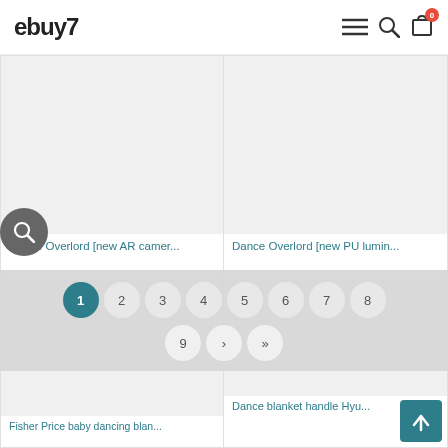ebuy7
[Figure (screenshot): Product card: Dance Overlord [new AR camer... with grey placeholder image]
[Figure (screenshot): Product card: Dance Overlord [new PU lumin... with grey placeholder image]
[Figure (screenshot): Product card: Wireless dancing blanket comp... with grey placeholder image, price $45.07]
[Figure (screenshot): Product card: Wireless dance blanket comput... with grey placeholder image, price $73.68]
Pagination: 1 2 3 4 5 6 7 8 9 > >|
[Figure (screenshot): Partial product card: Fisher Price baby dancing blan...]
[Figure (screenshot): Partial product card: Dance blanket handle Hyu...]